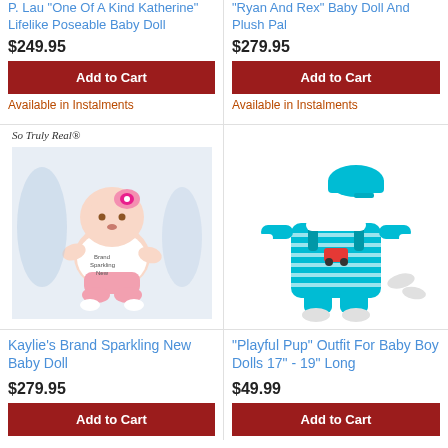P. Lau "One Of A Kind Katherine" Lifelike Poseable Baby Doll
$249.95
Add to Cart
Available in Instalments
"Ryan And Rex" Baby Doll And Plush Pal
$279.95
Add to Cart
Available in Instalments
[Figure (photo): Baby doll wearing pink outfit with headband, So Truly Real branded, lying on white background]
[Figure (photo): Blue striped baby boy doll outfit with cap and booties, Playful Pup themed romper set]
Kaylie's Brand Sparkling New Baby Doll
$279.95
Add to Cart
"Playful Pup" Outfit For Baby Boy Dolls 17" - 19" Long
$49.99
Add to Cart